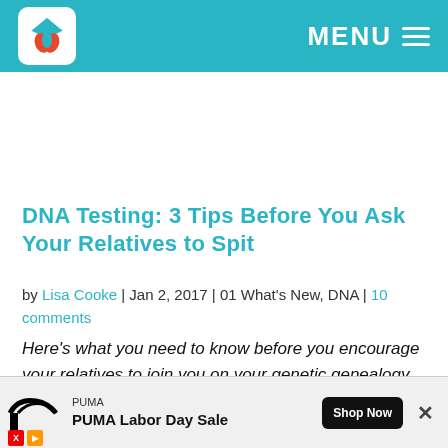MENU
DNA Testing: 3 Tips Before You Ask Your Relatives to Spit
by Lisa Cooke | Jan 2, 2017 | 01 What's New, DNA | 10 comments
Here’s what you need to know before you encourage your relatives to join you on your genetic genealogy journey. There are a few things to think about before they spit in that tube and our
[Figure (screenshot): PUMA Labor Day Sale advertisement banner with Puma logo, Shop Now button, and close X button]